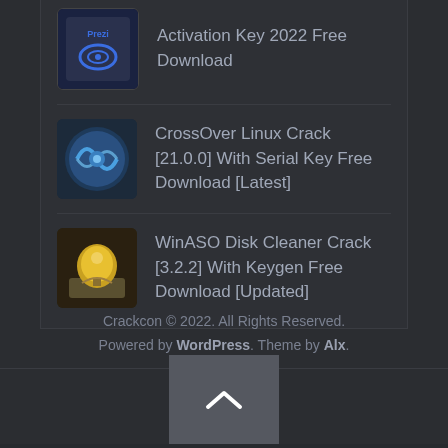Activation Key 2022 Free Download
CrossOver Linux Crack [21.0.0] With Serial Key Free Download [Latest]
WinASO Disk Cleaner Crack [3.2.2] With Keygen Free Download [Updated]
[Figure (other): Scroll to top button with upward chevron arrow]
Crackcon © 2022. All Rights Reserved. Powered by WordPress. Theme by Alx.